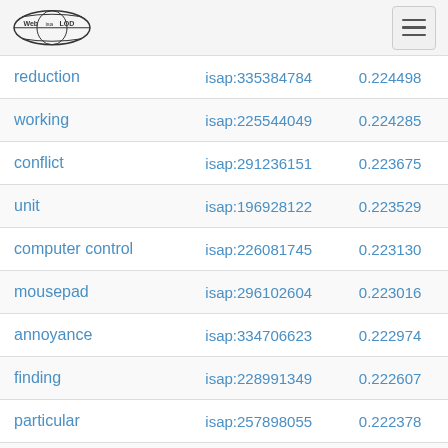Web isa LOD
| term | id | score |
| --- | --- | --- |
| reduction | isap:335384784 | 0.224498 |
| working | isap:225544049 | 0.224285 |
| conflict | isap:291236151 | 0.223675 |
| unit | isap:196928122 | 0.223529 |
| computer control | isap:226081745 | 0.223130 |
| mousepad | isap:296102604 | 0.223016 |
| annoyance | isap:334706623 | 0.222974 |
| finding | isap:228991349 | 0.222607 |
| particular | isap:257898055 | 0.222378 |
| other tool | isap:197034574 | 0.222364 |
| cable | isap:376701839 | 0.222072 |